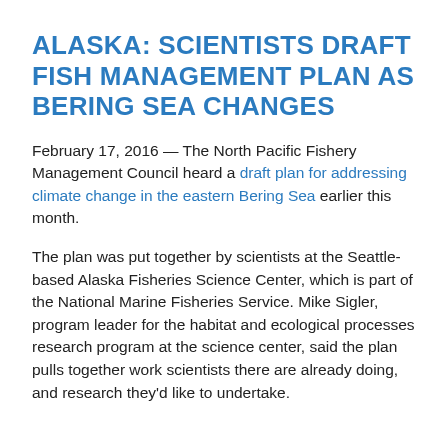ALASKA: SCIENTISTS DRAFT FISH MANAGEMENT PLAN AS BERING SEA CHANGES
February 17, 2016 — The North Pacific Fishery Management Council heard a draft plan for addressing climate change in the eastern Bering Sea earlier this month.
The plan was put together by scientists at the Seattle-based Alaska Fisheries Science Center, which is part of the National Marine Fisheries Service. Mike Sigler, program leader for the habitat and ecological processes research program at the science center, said the plan pulls together work scientists there are already doing, and research they'd like to undertake.